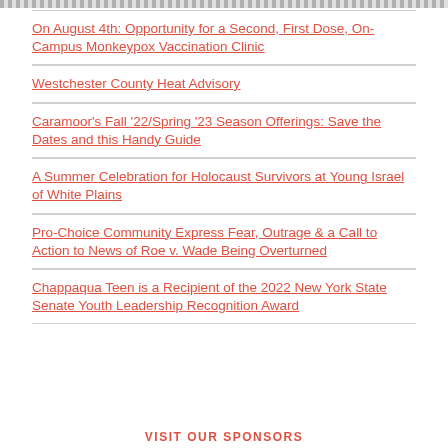On August 4th: Opportunity for a Second, First Dose, On-Campus Monkeypox Vaccination Clinic
Westchester County Heat Advisory
Caramoor's Fall '22/Spring '23 Season Offerings: Save the Dates and this Handy Guide
A Summer Celebration for Holocaust Survivors at Young Israel of White Plains
Pro-Choice Community Express Fear, Outrage & a Call to Action to News of Roe v. Wade Being Overturned
Chappaqua Teen is a Recipient of the 2022 New York State Senate Youth Leadership Recognition Award
VISIT OUR SPONSORS